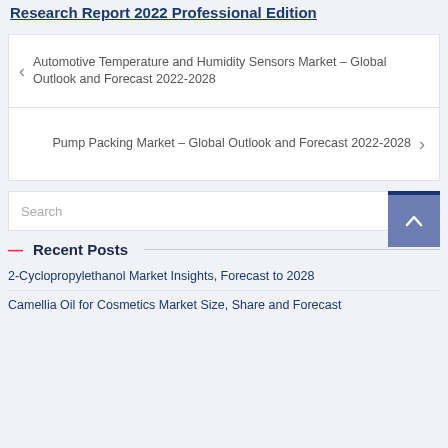Research Report 2022 Professional Edition
Automotive Temperature and Humidity Sensors Market – Global Outlook and Forecast 2022-2028
Pump Packing Market – Global Outlook and Forecast 2022-2028
Search
Recent Posts
2-Cyclopropylethanol Market Insights, Forecast to 2028
Camellia Oil for Cosmetics Market Size, Share and Forecast